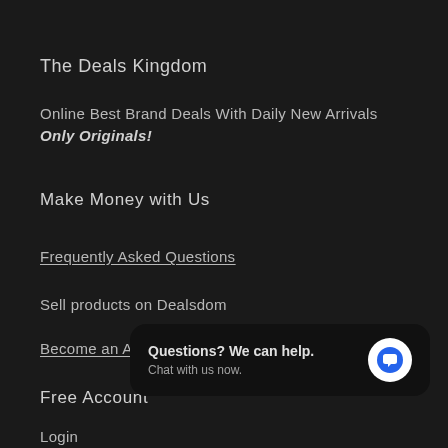The Deals Kingdom
Online Best Brand Deals With Daily New Arrivals
Only Originals!
Make Money with Us
Frequently Asked Questions
Sell products on Dealsdom
Become an Affiliate
Free Account
Login
[Figure (other): Chat popup widget with text 'Questions? We can help. Chat with us now.' and a blue speech bubble icon button]